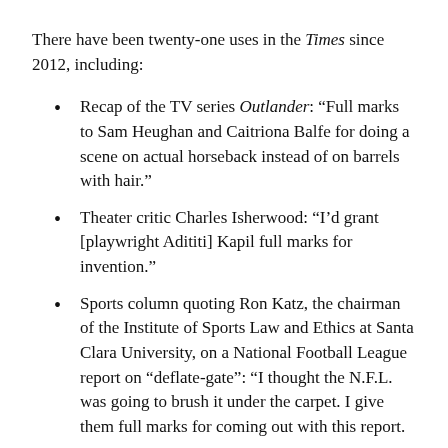There have been twenty-one uses in the Times since 2012, including:
Recap of the TV series Outlander: “Full marks to Sam Heughan and Caitriona Balfe for doing a scene on actual horseback instead of on barrels with hair.”
Theater critic Charles Isherwood: “I’d grant [playwright Adititi] Kapil full marks for invention.”
Sports column quoting Ron Katz, the chairman of the Institute of Sports Law and Ethics at Santa Clara University, on a National Football League report on “deflate-gate”: “I thought the N.F.L. was going to brush it under the carpet. I give them full marks for coming out with this report.
Theater critic Ben Brantley in a review of The King and I: “give full marks to the first-rate Ruthie Ann Miles”
And including an article about comma use listing various mistakes and saying that if the reader spotted them, “give...